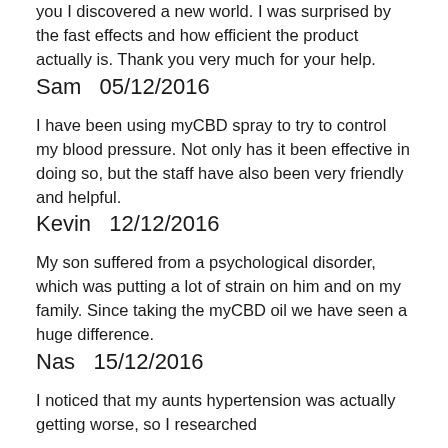you I discovered a new world. I was surprised by the fast effects and how efficient the product actually is. Thank you very much for your help.
Sam  05/12/2016
I have been using myCBD spray to try to control my blood pressure. Not only has it been effective in doing so, but the staff have also been very friendly and helpful.
Kevin  12/12/2016
My son suffered from a psychological disorder, which was putting a lot of strain on him and on my family. Since taking the myCBD oil we have seen a huge difference.
Nas  15/12/2016
I noticed that my aunts hypertension was actually getting worse, so I researched